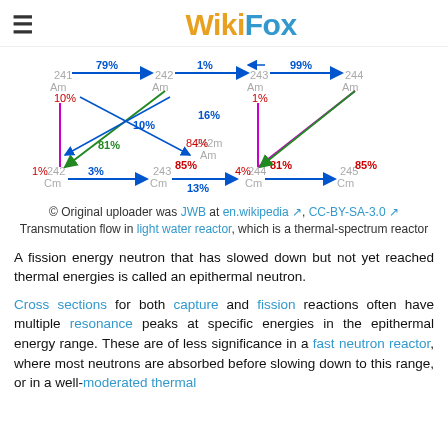WikiFox
[Figure (flowchart): Transmutation flow diagram showing americium and curium isotopes (241Am, 242Am, 242mAm, 243Am, 244Am, 242Cm, 243Cm, 244Cm, 245Cm) with arrows indicating neutron capture and decay percentages (79%, 1%, 99%, 10%, 10%, 16%, 84%, 81%, 85%, 85%, 3%, 13%, 4%, 81%, 1%, 1%) in a light water reactor.]
© Original uploader was JWB at en.wikipedia, CC-BY-SA-3.0
Transmutation flow in light water reactor, which is a thermal-spectrum reactor
A fission energy neutron that has slowed down but not yet reached thermal energies is called an epithermal neutron.
Cross sections for both capture and fission reactions often have multiple resonance peaks at specific energies in the epithermal energy range. These are of less significance in a fast neutron reactor, where most neutrons are absorbed before slowing down to this range, or in a well-moderated thermal